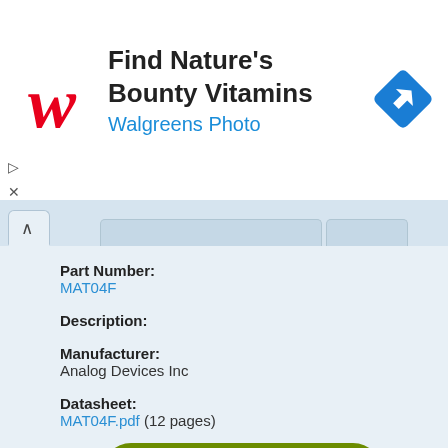[Figure (screenshot): Walgreens advertisement banner with logo, 'Find Nature's Bounty Vitamins' text, 'Walgreens Photo' subtitle, and a blue navigation direction icon on the right.]
Part Number:
MAT04F
Description:
Manufacturer:
Analog Devices Inc
Datasheet:
MAT04F.pdf  (12 pages)